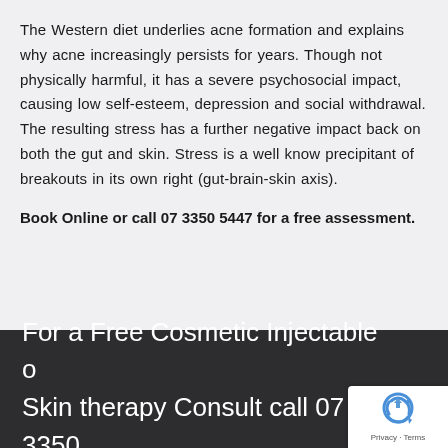The Western diet underlies acne formation and explains why acne increasingly persists for years. Though not physically harmful, it has a severe psychosocial impact, causing low self-esteem, depression and social withdrawal. The resulting stress has a further negative impact back on both the gut and skin. Stress is a well know precipitant of breakouts in its own right (gut-brain-skin axis).
Book Online or call 07 3350 5447 for a free assessment.
For a Free Cosmetic Injectable o... Skin therapy Consult call 07 3350...